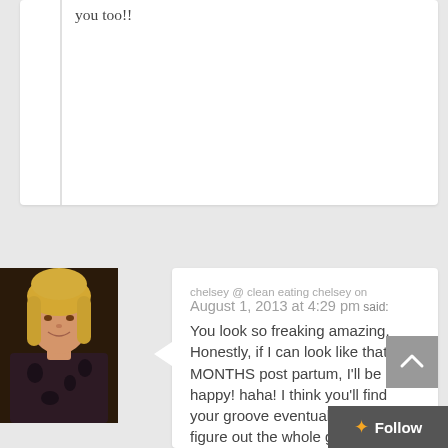you too!!
chelsey @ clean eating chelsey on
August 1, 2013 at 4:29 pm said:
You look so freaking amazing. Honestly, if I can look like that SIX MONTHS post partum, I'll be happy! haha! I think you'll find your groove eventually and you'll figure out the whole gym thing. I have a feeling that 4:30 AM workouts will be my thing come November when I go back to work. Or I know if I haaaaave to go after work (I'd
[Figure (photo): Profile photo of a blonde woman wearing a dark floral top]
Follow